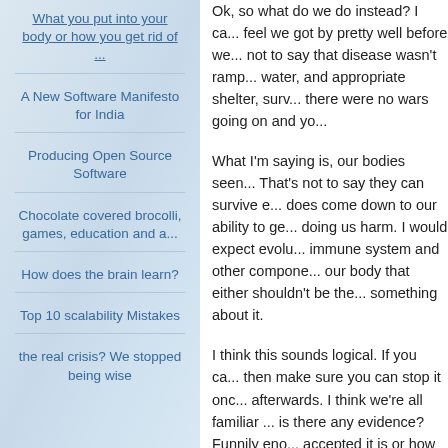What you put into your body or how you get rid of ...
A New Software Manifesto for India
Producing Open Source Software
Chocolate covered brocolli, games, education and a...
How does the brain learn?
Top 10 scalability Mistakes
the real crisis? We stopped being wise
Ok, so what do we do instead? I ca... feel we got by pretty well before we... not to say that disease wasn't ramp... water, and appropriate shelter, surv... there were no wars going on and yo...
What I'm saying is, our bodies seen... That's not to say they can survive e... does come down to our ability to ge... doing us harm. I would expect evolu... immune system and other compone... our body that either shouldn't be the... something about it.
I think this sounds logical. If you ca... then make sure you can stop it onc... afterwards. I think we're all familiar ... is there any evidence? Funnily eno... accepted it is or how thorough the r...
Feast and Famine: is that what our...
The basic theory I talk about is that...